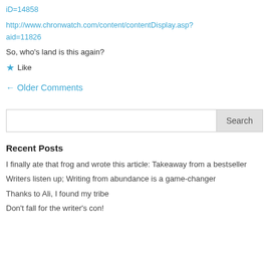iD=14858
http://www.chronwatch.com/content/contentDisplay.asp?aid=11826
So, who's land is this again?
★ Like
← Older Comments
Search
Recent Posts
I finally ate that frog and wrote this article: Takeaway from a bestseller
Writers listen up; Writing from abundance is a game-changer
Thanks to Ali, I found my tribe
Don't fall for the writer's con!